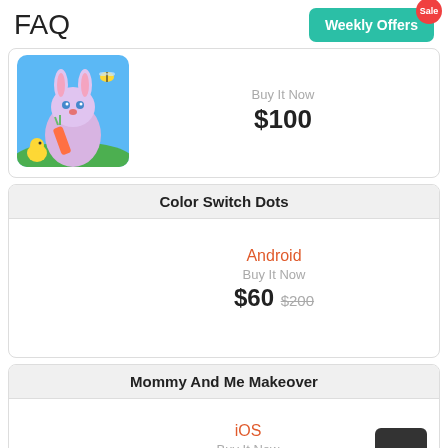FAQ
Weekly Offers
Buy It Now
$100
Color Switch Dots
Android
Buy It Now
$60 $200
Mommy And Me Makeover
iOS
Buy It Now
$150